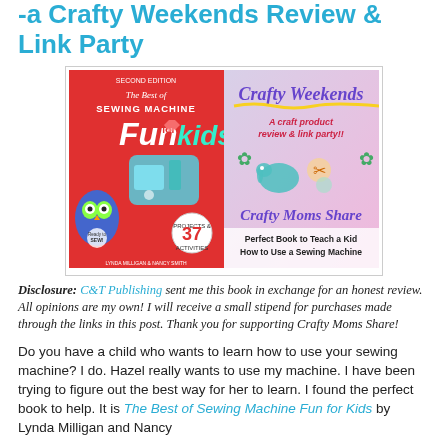-a Crafty Weekends Review & Link Party
[Figure (illustration): Composite image showing book cover 'The Best of Sewing Machine Fun for Kids' (red cover with sewing machine and owl) alongside 'Crafty Weekends - A craft product review & link party!! Crafty Moms Share' graphic with text 'Perfect Book to Teach a Kid How to Use a Sewing Machine']
Disclosure: C&T Publishing sent me this book in exchange for an honest review. All opinions are my own! I will receive a small stipend for purchases made through the links in this post. Thank you for supporting Crafty Moms Share!
Do you have a child who wants to learn how to use your sewing machine? I do. Hazel really wants to use my machine. I have been trying to figure out the best way for her to learn. I found the perfect book to help. It is The Best of Sewing Machine Fun for Kids by Lynda Milligan and Nancy